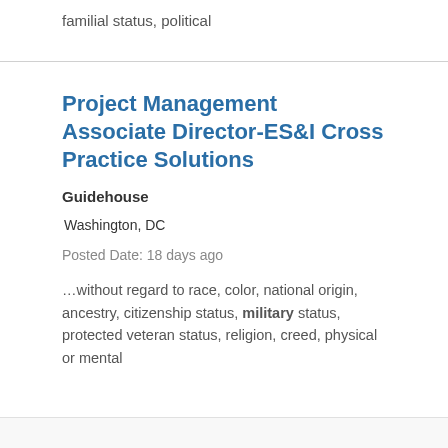familial status, political
Project Management Associate Director-ES&I Cross Practice Solutions
Guidehouse
Washington, DC
Posted Date: 18 days ago
…without regard to race, color, national origin, ancestry, citizenship status, military status, protected veteran status, religion, creed, physical or mental